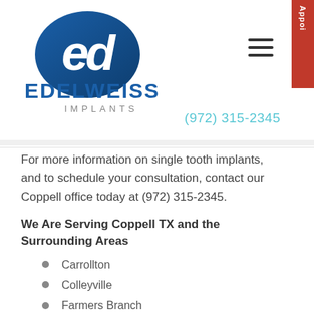[Figure (logo): Edelweiss Implants logo — blue stylized 'ED' icon above text 'EDELWEISS' in bold blue and 'IMPLANTS' in spaced gray letters]
(972) 315-2345
For more information on single tooth implants, and to schedule your consultation, contact our Coppell office today at (972) 315-2345.
We Are Serving Coppell TX and the Surrounding Areas
Carrollton
Colleyville
Farmers Branch
Flower Mound
Frisco
Grapevine